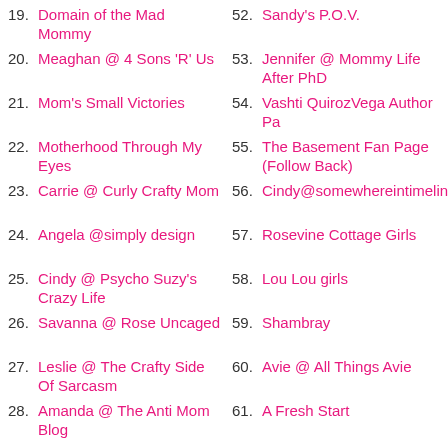19. Domain of the Mad Mommy
20. Meaghan @ 4 Sons 'R' Us
21. Mom's Small Victories
22. Motherhood Through My Eyes
23. Carrie @ Curly Crafty Mom
24. Angela @simply design
25. Cindy @ Psycho Suzy's Crazy Life
26. Savanna @ Rose Uncaged
27. Leslie @ The Crafty Side Of Sarcasm
28. Amanda @ The Anti Mom Blog
29. Ramblings of a Southern...
52. Sandy's P.O.V.
53. Jennifer @ Mommy Life After PhD
54. Vashti QuirozVega Author Pa
55. The Basement Fan Page (Follow Back)
56. Cindy@somewhereintimelin
57. Rosevine Cottage Girls
58. Lou Lou girls
59. Shambray
60. Avie @ All Things Avie
61. A Fresh Start
62. Annie @ Annie's Noms